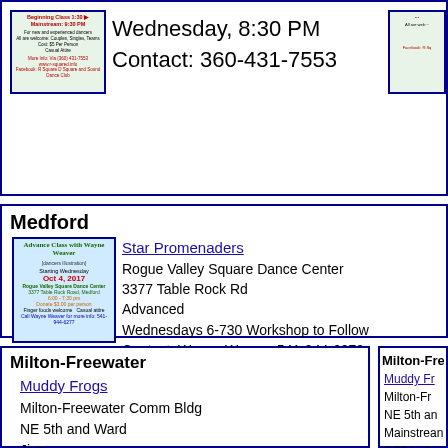Wednesday, 8:30 PM
Contact: 360-431-7553
[Figure (illustration): Square dance club flyer (partial)]
Medford
[Figure (illustration): Star Promenaders flyer - Advanced Class with Wayne Weaver, Starting Wednesday Oct 4, 2017, Rogue Valley Square Dance Center, 3377 Table Rock Road Medford, 6:00-7:30 pm, Donate $3.00 per person, Finger foods welcome, Casual attire]
Star Promenaders
Rogue Valley Square Dance Center
3377 Table Rock Rd
Advanced
Wednesdays 6-730 Workshop to Follow
Contact: Wayne Weaver 541-944-6279
Milton-Freewater
Muddy Frogs
Milton-Freewater Comm Bldg
NE 5th and Ward
Jive
Jive/swing from 3:45-5:00
Milton-Free
Muddy Fr
Milton-Fr
NE 5th an
Mainstrea
2:00 to 3: